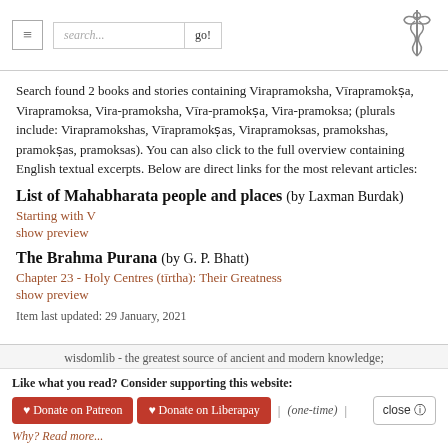search... go! [navigation bar with hamburger menu and caduceus logo]
Search found 2 books and stories containing Virapramoksha, Vīrapramokṣa, Virapramoksa, Vira-pramoksha, Vīra-pramokṣa, Vira-pramoksa; (plurals include: Virapramokshas, Vīrapramokṣas, Virapramoksas, pramokshas, pramokṣas, pramoksas). You can also click to the full overview containing English textual excerpts. Below are direct links for the most relevant articles:
List of Mahabharata people and places (by Laxman Burdak)
Starting with V
show preview
The Brahma Purana (by G. P. Bhatt)
Chapter 23 - Holy Centres (tīrtha): Their Greatness
show preview
Item last updated: 29 January, 2021
wisdomlib - the greatest source of ancient and modern knowledge;
Like what you read? Consider supporting this website: ♥ Donate on Patreon  ♥ Donate on Liberapay | (one-time) | close ⊗
Why? Read more...